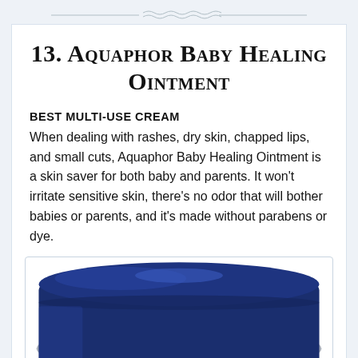13. Aquaphor Baby Healing Ointment
BEST MULTI-USE CREAM
When dealing with rashes, dry skin, chapped lips, and small cuts, Aquaphor Baby Healing Ointment is a skin saver for both baby and parents. It won't irritate sensitive skin, there's no odor that will bother babies or parents, and it's made without parabens or dye.
[Figure (photo): Blue cylindrical container of Aquaphor Baby Healing Ointment, viewed from above showing the navy blue lid and body of the jar.]